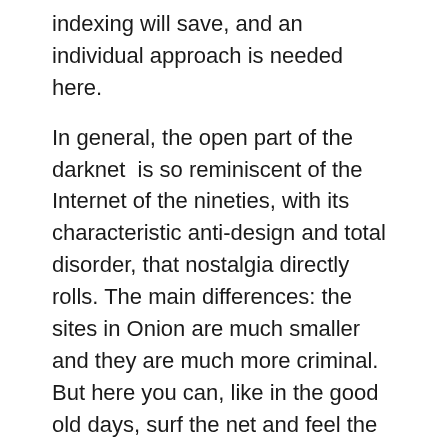indexing will save, and an individual approach is needed here.
In general, the open part of the darknet  is so reminiscent of the Internet of the nineties, with its characteristic anti-design and total disorder, that nostalgia directly rolls. The main differences: the sites in Onion are much smaller and they are much more criminal. But here you can, like in the good old days, surf the net and feel the wind of freedom blowing from all sides!
More from deepweb